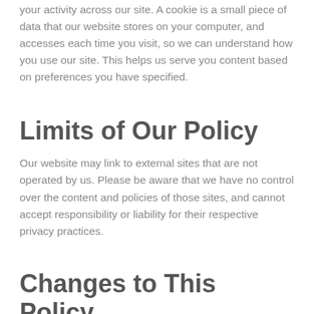your activity across our site. A cookie is a small piece of data that our website stores on your computer, and accesses each time you visit, so we can understand how you use our site. This helps us serve you content based on preferences you have specified.
Limits of Our Policy
Our website may link to external sites that are not operated by us. Please be aware that we have no control over the content and policies of those sites, and cannot accept responsibility or liability for their respective privacy practices.
Changes to This Policy
At our discretion, we may change our privacy policy to reflect current acceptable practices.